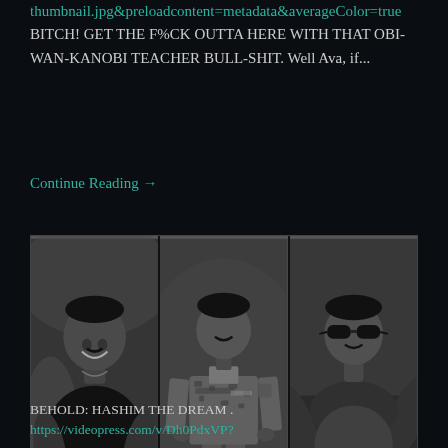thumbnail.jpg&preloadcontent=metadata&averageColor=true BITCH! GET THE F%CK OUTTA HERE WITH THAT OBI-WAN-KANOBI TEACHER BULL-SHIT. Well Ava, if...
Continue Reading →
[Figure (photo): Three black-and-white photos side by side of the same muscular man: left photo shows him smiling in a black t-shirt, center photo shows him in U.S. Army military camouflage uniform, right photo shows him wearing sunglasses and flexing.]
BEHOLD: HASHIM THE DREAM . https://videopress.com/v/Dh0PdxVP?